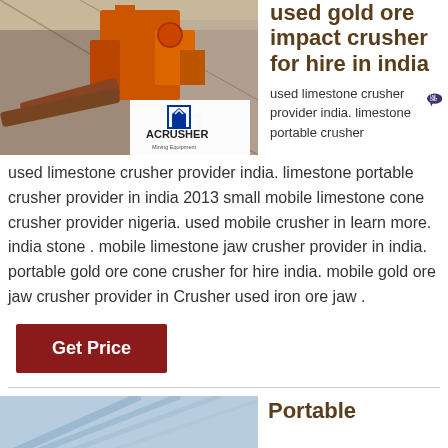used gold ore impact crusher for hire in india
[Figure (photo): Industrial mining crusher equipment (orange/red machinery) with ACRUSHER Mining Equipment logo overlay]
used limestone crusher provider india. limestone portable crusher provider in india 2013 small mobile limestone cone crusher provider nigeria. used mobile crusher in learn more. india stone . mobile limestone jaw crusher provider in india. portable gold ore cone crusher for hire india. mobile gold ore jaw crusher provider in Crusher used iron ore jaw .
Get Price
[Figure (photo): Partial view of a second mining-related image (blue/grey tones)]
Portable